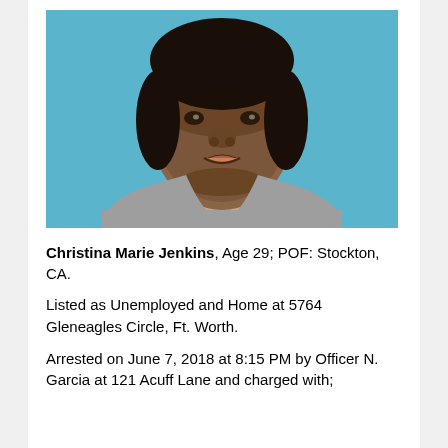[Figure (photo): Mugshot/booking photo of a young Black woman with short hair against a blue background, wearing a gray top, showing face and upper shoulders]
Christina Marie Jenkins, Age 29; POF: Stockton, CA.
Listed as Unemployed and Home at 5764 Gleneagles Circle, Ft. Worth.
Arrested on June 7, 2018 at 8:15 PM by Officer N. Garcia at 121 Acuff Lane and charged with;